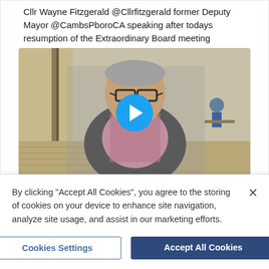Cllr Wayne Fitzgerald @Cllrfitzgerald former Deputy Mayor @CambsPboroCA speaking after todays resumption of the Extraordinary Board meeting
[Figure (screenshot): Video thumbnail showing a middle-aged man with glasses and grey beard wearing a grey blazer over a checkered shirt, standing outdoors near a building. A blue circular play button is overlaid in the center.]
By clicking “Accept All Cookies”, you agree to the storing of cookies on your device to enhance site navigation, analyze site usage, and assist in our marketing efforts.
Cookies Settings
Accept All Cookies